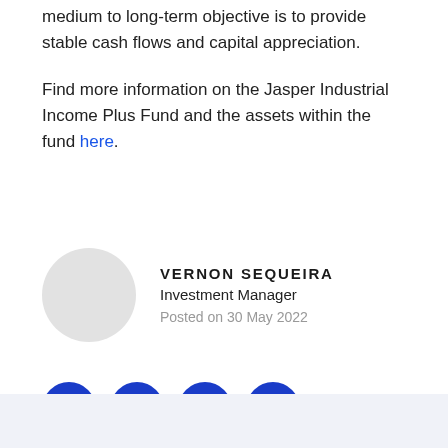medium to long-term objective is to provide stable cash flows and capital appreciation.
Find more information on the Jasper Industrial Income Plus Fund and the assets within the fund here.
VERNON SEQUEIRA
Investment Manager
Posted on 30 May 2022
[Figure (other): Social media icons: Facebook, LinkedIn, Twitter, Email — blue circular buttons]